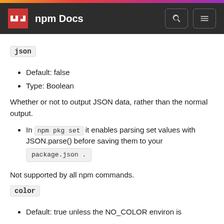npm Docs
json
Default: false
Type: Boolean
Whether or not to output JSON data, rather than the normal output.
In npm pkg set it enables parsing set values with JSON.parse() before saving them to your package.json .
Not supported by all npm commands.
color
Default: true unless the NO_COLOR environ is